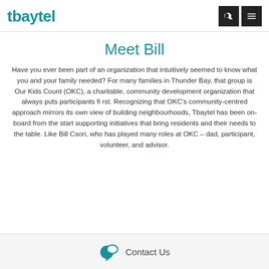tbaytel
Meet Bill
Have you ever been part of an organization that intuitively seemed to know what you and your family needed? For many families in Thunder Bay, that group is Our Kids Count (OKC), a charitable, community development organization that always puts participants fi rst. Recognizing that OKC’s community-centred approach mirrors its own view of building neighbourhoods, Tbaytel has been on-board from the start supporting initiatives that bring residents and their needs to the table. Like Bill Csori, who has played many roles at OKC – dad, participant, volunteer, and advisor.
Contact Us